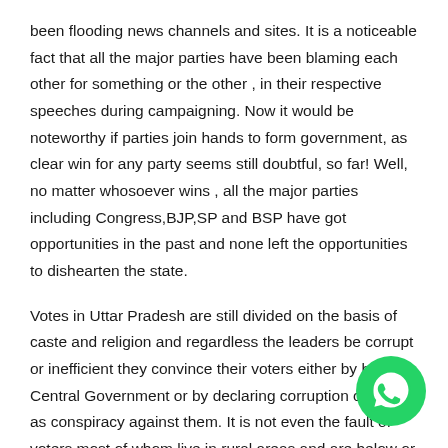been flooding news channels and sites. It is a noticeable fact that all the major parties have been blaming each other for something or the other , in their respective speeches during campaigning. Now it would be noteworthy if parties join hands to form government, as clear win for any party seems still doubtful, so far! Well, no matter whosoever wins , all the major parties including Congress,BJP,SP and BSP have got opportunities in the past and none left the opportunities to dishearten the state.
Votes in Uttar Pradesh are still divided on the basis of caste and religion and regardless the leaders be corrupt or inefficient they convince their voters either by blaming Central Government or by declaring corruption charges as conspiracy against them. It is not even the fault of voters,most of whom live in rural areas and are below or at par with poverty line. Literacy percent is still low and exposure to the outer world is very limited. In Uttar Pradesh, the major agenda should be development of the under-grown sta and even the voters should think of benefits of the State as a
[Figure (illustration): WhatsApp logo — green circle with white phone/chat icon]